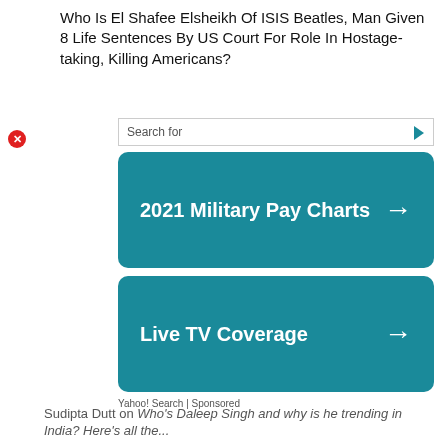Who Is El Shafee Elsheikh Of ISIS Beatles, Man Given 8 Life Sentences By US Court For Role In Hostage-taking, Killing Americans?
[Figure (screenshot): Advertisement block with search bar and two teal rounded-rectangle ad cards. First card: '2021 Military Pay Charts →'. Second card: 'Live TV Coverage →'. Below: 'Yahoo! Search | Sponsored']
Sudipta Dutt on Who's Daleep Singh and why is he trending in India? Here's all the...